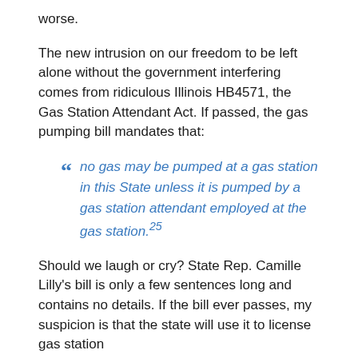worse.
The new intrusion on our freedom to be left alone without the government interfering comes from ridiculous Illinois HB4571, the Gas Station Attendant Act. If passed, the gas pumping bill mandates that:
no gas may be pumped at a gas station in this State unless it is pumped by a gas station attendant employed at the gas station.25
Should we laugh or cry? State Rep. Camille Lilly's bill is only a few sentences long and contains no details. If the bill ever passes, my suspicion is that the state will use it to license gas station